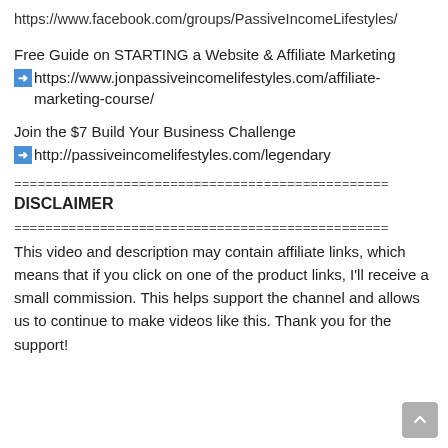https://www.facebook.com/groups/PassiveIncomeLifestyles/
Free Guide on STARTING a Website & Affiliate Marketing ➡https://www.jonpassiveincomelifestyles.com/affiliate-marketing-course/
Join the $7 Build Your Business Challenge ➡http://passiveincomelifestyles.com/legendary
================================================
DISCLAIMER
================================================
This video and description may contain affiliate links, which means that if you click on one of the product links, I'll receive a small commission. This helps support the channel and allows us to continue to make videos like this. Thank you for the support!